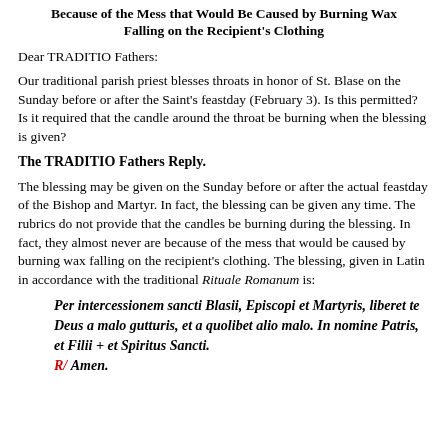Because of the Mess that Would Be Caused by Burning Wax Falling on the Recipient's Clothing
Dear TRADITIO Fathers:
Our traditional parish priest blesses throats in honor of St. Blase on the Sunday before or after the Saint's feastday (February 3). Is this permitted? Is it required that the candle around the throat be burning when the blessing is given?
The TRADITIO Fathers Reply.
The blessing may be given on the Sunday before or after the actual feastday of the Bishop and Martyr. In fact, the blessing can be given any time. The rubrics do not provide that the candles be burning during the blessing. In fact, they almost never are because of the mess that would be caused by burning wax falling on the recipient's clothing. The blessing, given in Latin in accordance with the traditional Rituale Romanum is:
Per intercessionem sancti Blasii, Episcopi et Martyris, liberet te Deus a malo gutturis, et a quolibet alio malo. In nomine Patris, et Filii + et Spiritus Sancti.
R/ Amen.